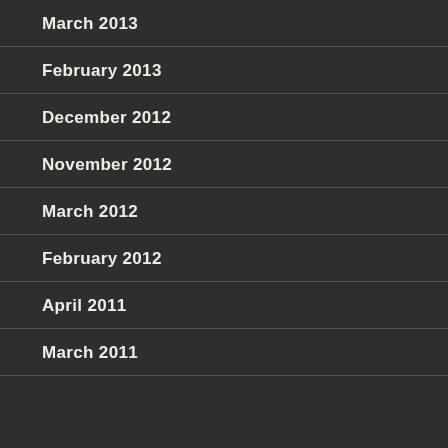March 2013
February 2013
December 2012
November 2012
March 2012
February 2012
April 2011
March 2011